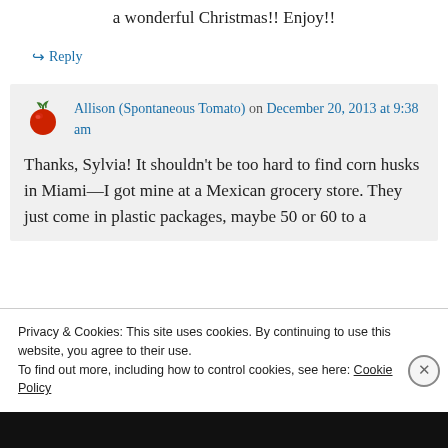a wonderful Christmas!! Enjoy!!
↪ Reply
Allison (Spontaneous Tomato) on December 20, 2013 at 9:38 am
Thanks, Sylvia! It shouldn't be too hard to find corn husks in Miami—I got mine at a Mexican grocery store. They just come in plastic packages, maybe 50 or 60 to a
Privacy & Cookies: This site uses cookies. By continuing to use this website, you agree to their use.
To find out more, including how to control cookies, see here: Cookie Policy